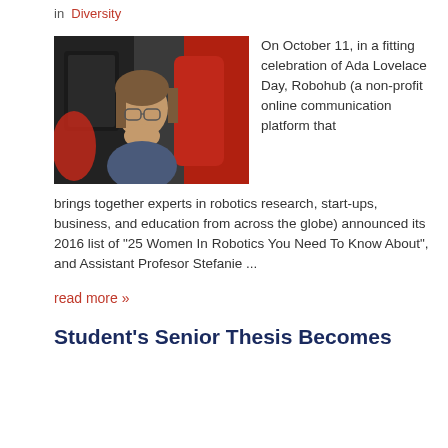in  Diversity
[Figure (photo): Woman with glasses resting her chin on her hand, looking at red robotic equipment in a lab setting.]
On October 11, in a fitting celebration of Ada Lovelace Day, Robohub (a non-profit online communication platform that brings together experts in robotics research, start-ups, business, and education from across the globe) announced its 2016 list of "25 Women In Robotics You Need To Know About", and Assistant Profesor Stefanie ...
read more »
Student's Senior Thesis Becomes